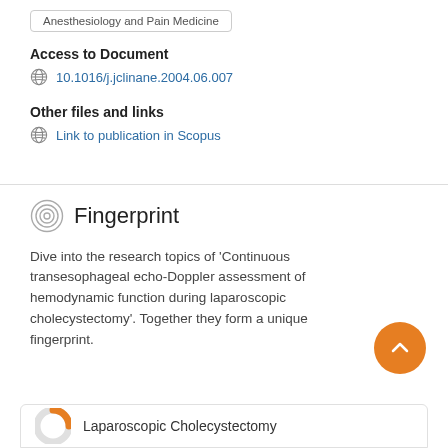Anesthesiology and Pain Medicine
Access to Document
10.1016/j.jclinane.2004.06.007
Other files and links
Link to publication in Scopus
Fingerprint
Dive into the research topics of 'Continuous transesophageal echo-Doppler assessment of hemodynamic function during laparoscopic cholecystectomy'. Together they form a unique fingerprint.
Laparoscopic Cholecystectomy